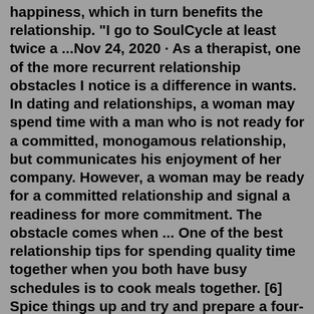happiness, which in turn benefits the relationship. "I go to SoulCycle at least twice a ...Nov 24, 2020 · As a therapist, one of the more recurrent relationship obstacles I notice is a difference in wants. In dating and relationships, a woman may spend time with a man who is not ready for a committed, monogamous relationship, but communicates his enjoyment of her company. However, a woman may be ready for a committed relationship and signal a readiness for more commitment. The obstacle comes when ... One of the best relationship tips for spending quality time together when you both have busy schedules is to cook meals together. [6] Spice things up and try and prepare a four-course meal or a fancy French dish together. Not only is this a fun way to spend your time together, but it also promotes teamwork.Spending time together as a couple is an important and necessary part of any relationship. Every couple should make an effort to spend some quality time together on a regular basis. ... But, that kind of time is